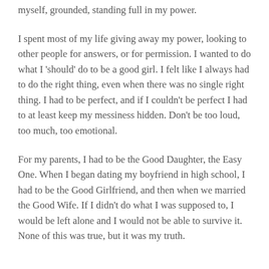myself, grounded, standing full in my power.
I spent most of my life giving away my power, looking to other people for answers, or for permission. I wanted to do what I 'should' do to be a good girl. I felt like I always had to do the right thing, even when there was no single right thing. I had to be perfect, and if I couldn't be perfect I had to at least keep my messiness hidden. Don't be too loud, too much, too emotional.
For my parents, I had to be the Good Daughter, the Easy One. When I began dating my boyfriend in high school, I had to be the Good Girlfriend, and then when we married the Good Wife. If I didn't do what I was supposed to, I would be left alone and I would not be able to survive it.  None of this was true, but it was my truth.